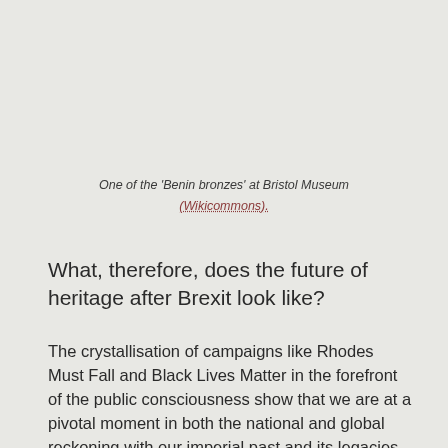One of the 'Benin bronzes' at Bristol Museum (Wikicommons).
What, therefore, does the future of heritage after Brexit look like?
The crystallisation of campaigns like Rhodes Must Fall and Black Lives Matter in the forefront of the public consciousness show that we are at a pivotal moment in both the national and global reckoning with our imperial past and its legacies of racialisation.